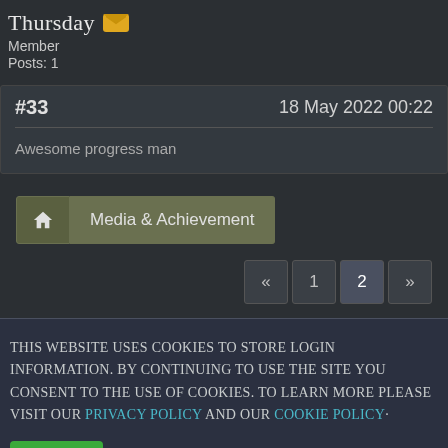Thursday
Member
Posts: 1
#33   18 May 2022 00:22
Awesome progress man
Media & Achievement
« 1 2 »
This website uses cookies to store login information. By continuing to use the site you consent to the use of cookies. To learn more please visit our PRIVACY POLICY and our COOKIE POLICY·
OKAY